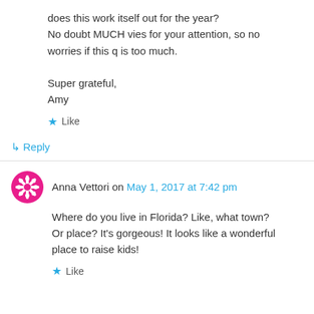does this work itself out for the year? No doubt MUCH vies for your attention, so no worries if this q is too much.

Super grateful,
Amy
★ Like
↳ Reply
Anna Vettori on May 1, 2017 at 7:42 pm
Where do you live in Florida? Like, what town? Or place? It's gorgeous! It looks like a wonderful place to raise kids!
★ Like